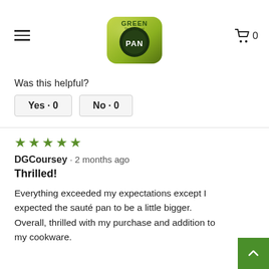GreenPan navigation header with hamburger menu and cart
Was this helpful?
Yes · 0   No · 0
★★★★★
DGCoursey · 2 months ago
Thrilled!
Everything exceeded my expectations except I expected the sauté pan to be a little bigger. Overall, thrilled with my purchase and addition to my cookware.